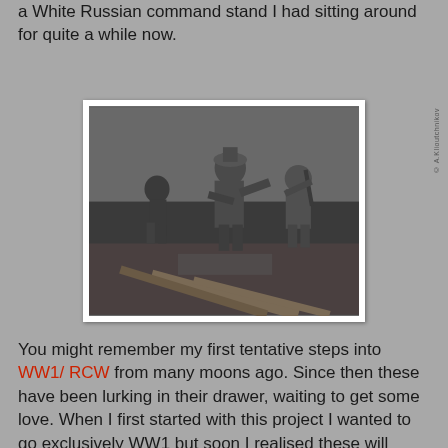a White Russian command stand I had sitting around for quite a while now.
[Figure (photo): Black and white photograph of miniature figurines depicting WWI/RCW soldiers in a trench scene. The figures show soldiers in military uniforms and caps, posed dynamically with rifles and equipment in a diorama setting with wooden boards and sandbags.]
You might remember my first tentative steps into WW1/RCW from many moons ago. Since then these have been lurking in their drawer, waiting to get some love. When I first started with this project I wanted to go exclusively WW1 but soon I realised these will probably never see the table anyway. Thus I went for the colours of the visually more interesting Kornilov Shock Regiment of the White Russian